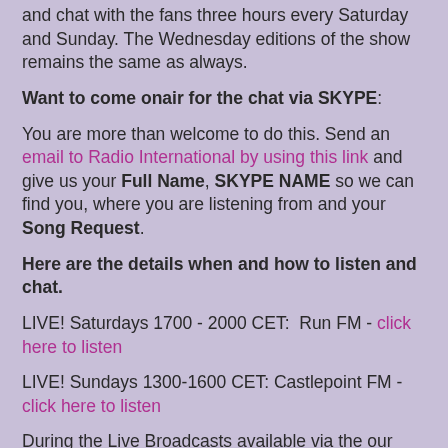and chat with the fans three hours every Saturday and Sunday. The Wednesday editions of the show remains the same as always.
Want to come onair for the chat via SKYPE:
You are more than welcome to do this. Send an email to Radio International by using this link and give us your Full Name, SKYPE NAME so we can find you, where you are listening from and your Song Request.
Here are the details when and how to listen and chat.
LIVE! Saturdays 1700 - 2000 CET:  Run FM - click here to listen
LIVE! Sundays 1300-1600 CET: Castlepoint FM - click here to listen
During the Live Broadcasts available via the our ChatRoom where you can also listen - Click here